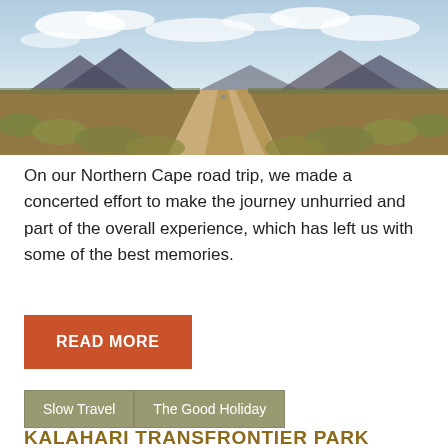[Figure (photo): A long straight dirt road stretching to the horizon through semi-arid scrubland, with mountains in the background under a partly cloudy sky. Northern Cape, South Africa.]
On our Northern Cape road trip, we made a concerted effort to make the journey unhurried and part of the overall experience, which has left us with some of the best memories.
READ MORE
Slow Travel
The Good Holiday
KALAHARI TRANSFRONTIER PARK